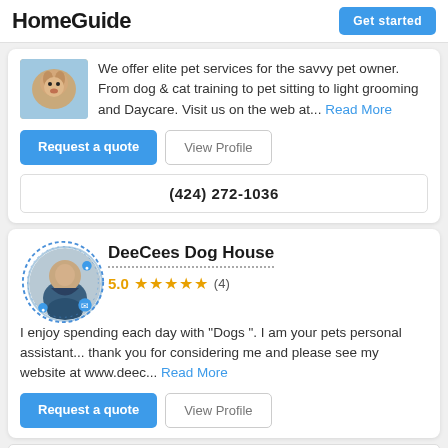HomeGuide | Get started
[Figure (photo): Pet thumbnail image, small dog photo]
We offer elite pet services for the savvy pet owner. From dog & cat training to pet sitting to light grooming and Daycare. Visit us on the web at... Read More
Request a quote | View Profile
(424) 272-1036
DeeCees Dog House
5.0 ★★★★★ (4)
I enjoy spending each day with "Dogs ". I am your pets personal assistant... thank you for considering me and please see my website at www.deec... Read More
Request a quote | View Profile